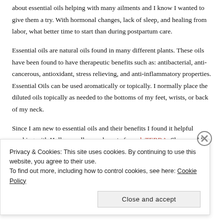about essential oils helping with many ailments and I know I wanted to give them a try. With hormonal changes, lack of sleep, and healing from labor, what better time to start than during postpartum care.
Essential oils are natural oils found in many different plants. These oils have been found to have therapeutic benefits such as: antibacterial, anti-cancerous, antioxidant, stress relieving, and anti-inflammatory properties. Essential Oils can be used aromatically or topically. I normally place the diluted oils topically as needed to the bottoms of my feet, wrists, or back of my neck.
Since I am new to essential oils and their benefits I found it helpful working with Holly, a wellness advocate from doTERRA. She was able to recommend oils that were catered specifically to my needs. She was recommending oils that...
Privacy & Cookies: This site uses cookies. By continuing to use this website, you agree to their use.
To find out more, including how to control cookies, see here: Cookie Policy
Close and accept